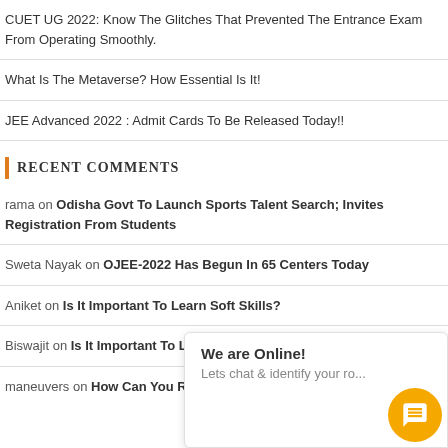CUET UG 2022: Know The Glitches That Prevented The Entrance Exam From Operating Smoothly.
What Is The Metaverse? How Essential Is It!
JEE Advanced 2022 : Admit Cards To Be Released Today!!
Recent Comments
rama on Odisha Govt To Launch Sports Talent Search; Invites Registration From Students
Sweta Nayak on OJEE-2022 Has Begun In 65 Centers Today
Aniket on Is It Important To Learn Soft Skills?
Biswajit on Is It Important To Learn Soft Skills?
maneuvers on How Can You Reduce Stress Before Your Exams?